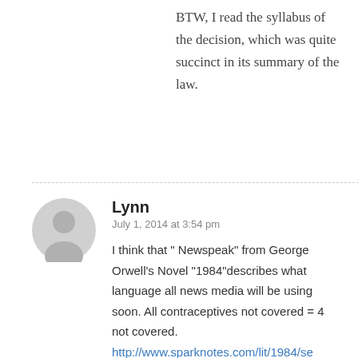BTW, I read the syllabus of the decision, which was quite succinct in its summary of the law.
Lynn
July 1, 2014 at 3:54 pm
I think that " Newspeak" from George Orwell's Novel "1984"describes what language all news media will be using soon. All contraceptives not covered = 4 not covered.
http://www.sparknotes.com/lit/1984/se
Read to the end it pretty much covers what will be coming from 2014-2016.